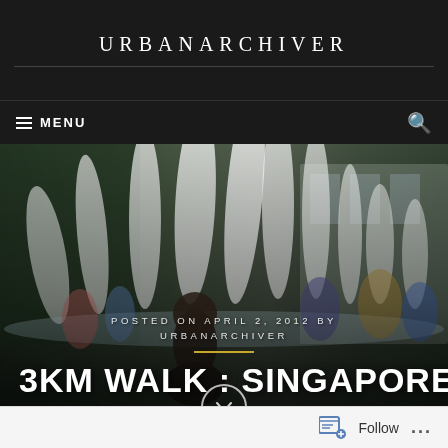URBANARCHIVER
≡ MENU
[Figure (photo): Hero photo of a fountain with people and a child in the foreground, overlaid with post metadata and article title text. Posted on April 2, 2012 by URBANARCHIVER. Title: 3KM WALK : SINGAPORE]
Follow ...